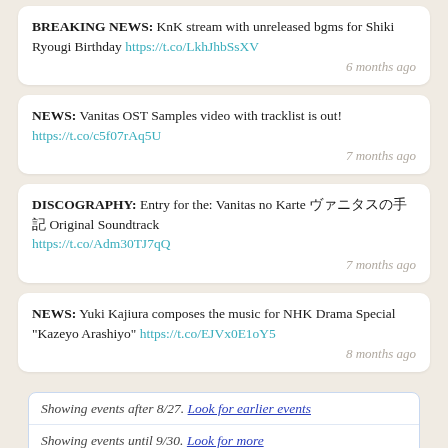BREAKING NEWS: KnK stream with unreleased bgms for Shiki Ryougi Birthday https://t.co/LkhJhbSsXV — 6 months ago
NEWS: Vanitas OST Samples video with tracklist is out! https://t.co/c5f07rAq5U — 7 months ago
DISCOGRAPHY: Entry for the: Vanitas no Karte ヴァニタスの手記 Original Soundtrack https://t.co/Adm30TJ7qQ — 7 months ago
NEWS: Yuki Kajiura composes the music for NHK Drama Special "Kazeyo Arashiyo" https://t.co/EJVx0E1oY5 — 8 months ago
Showing events after 8/27. Look for earlier events
Showing events until 9/30. Look for more